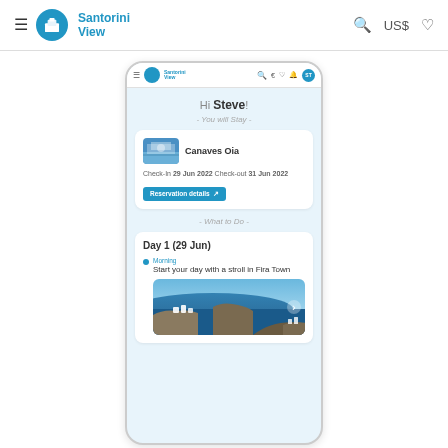Santorini View — navigation bar with hamburger, logo, search, US$, heart icons
[Figure (screenshot): Mobile phone mockup showing Santorini View app. Content includes: 'Hi Steve!' greeting, 'You will Stay' section with Canaves Oia hotel card (Check-In 29 Jun 2022, Check-out 31 Jun 2022, Reservation details button), 'What to Do' section with Day 1 (29 Jun) showing Morning activity 'Start your day with a stroll in Fira Town' with a photo of Santorini caldera view.]